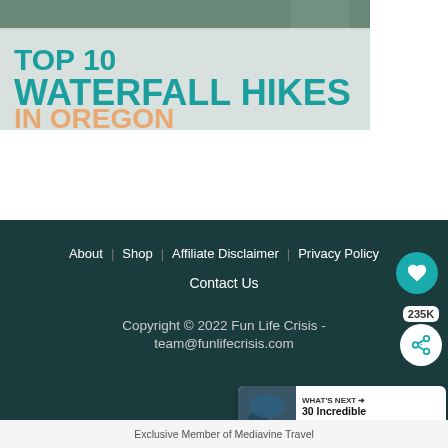[Figure (illustration): Banner image showing Top 10 Waterfall Hikes In Oregon text overlay on a nature background with teal and orange typography]
About   Shop   Affiliate Disclaimer   Privacy Policy   Contact Us
Copyright © 2022 Fun Life Crisis - team@funlifecrisis.com
[Figure (infographic): What's Next card showing 30 Incredible Things To S... with a nature thumbnail image]
Exclusive Member of Mediavine Travel